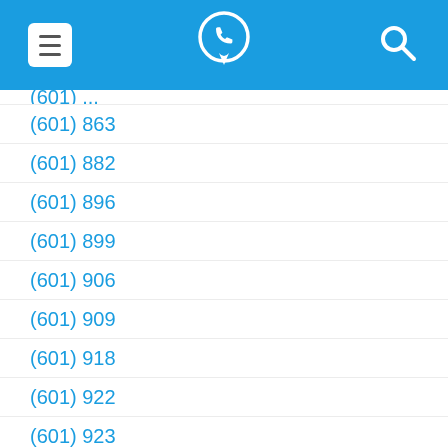Phone directory app header with menu, phone/location icon, and search icon
(601) 863
(601) 882
(601) 896
(601) 899
(601) 906
(601) 909
(601) 918
(601) 922
(601) 923
(601) 927